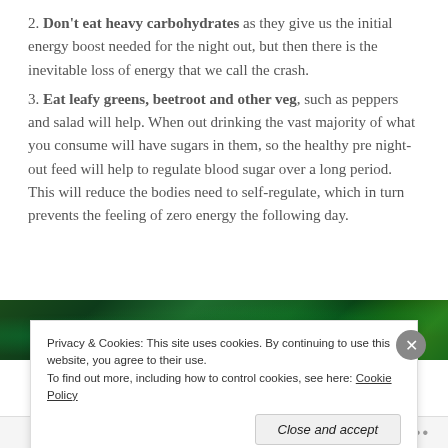2. Don't eat heavy carbohydrates as they give us the initial energy boost needed for the night out, but then there is the inevitable loss of energy that we call the crash.
3. Eat leafy greens, beetroot and other veg, such as peppers and salad will help. When out drinking the vast majority of what you consume will have sugars in them, so the healthy pre night-out feed will help to regulate blood sugar over a long period. This will reduce the bodies need to self-regulate, which in turn prevents the feeling of zero energy the following day.
[Figure (photo): Dark green background image, appears to show leafy green vegetables or plants with bright green highlights]
Privacy & Cookies: This site uses cookies. By continuing to use this website, you agree to their use. To find out more, including how to control cookies, see here: Cookie Policy
Close and accept
Follow ...